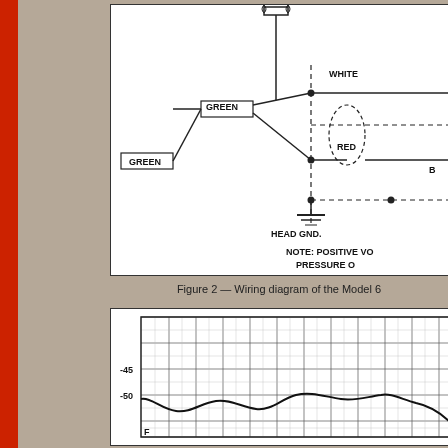[Figure (circuit-diagram): Wiring diagram showing transformer coil with GREEN wires, HEAD GND connection, WHITE and RED wire connections with dashed boundary box indicating connector region. Partial view cropped at right edge.]
Figure 2 — Wiring diagram of the Model 6
[Figure (continuous-plot): Frequency response chart with y-axis labeled IN DB showing values around -45 and -50, with a wavy response curve. Y-axis label rotated, showing grid lines.]